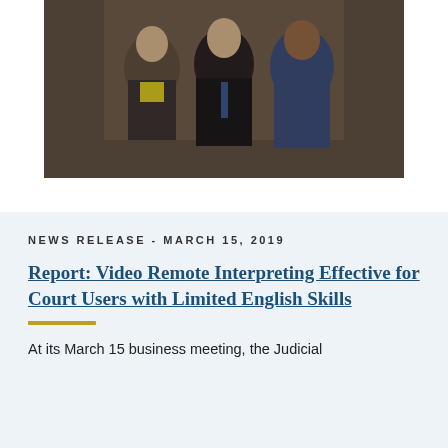[Figure (photo): Three people posing together indoors: a woman with glasses and yellow top wearing a dark jacket, a man in a dark suit with blue tie in the center, and a man in a blue patterned suit jacket on the right]
NEWS RELEASE - MARCH 15, 2019
Report: Video Remote Interpreting Effective for Court Users with Limited English Skills
At its March 15 business meeting, the Judicial